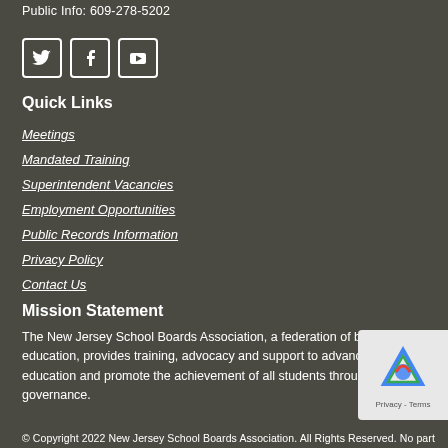Public Info: 609-278-5202
[Figure (other): Social media icons: Twitter, Facebook, YouTube]
Quick Links
Meetings
Mandated Training
Superintendent Vacancies
Employment Opportunities
Public Records Information
Privacy Policy
Contact Us
Mission Statement
The New Jersey School Boards Association, a federation of boards of education, provides training, advocacy and support to advance public education and promote the achievement of all students through effective governance.
© Copyright 2022 New Jersey School Boards Association. All Rights Reserved. No part